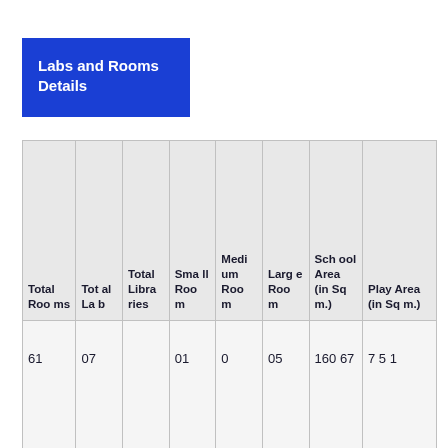Labs and Rooms Details
| Total Rooms | Total Lab | Total Libraries | Small Room | Medium Room | Large Room | School Area (in Sq m.) | Play Area (in Sq m.) |
| --- | --- | --- | --- | --- | --- | --- | --- |
| 61 | 07 |  | 01 | 0 | 05 | 16067 | 751 |